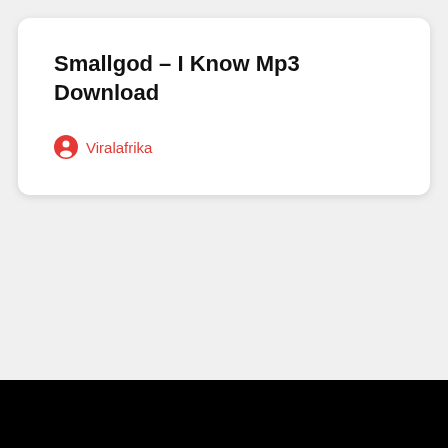Smallgod – I Know Mp3 Download
Viralafrika
1  2  3  4  5  ...  16